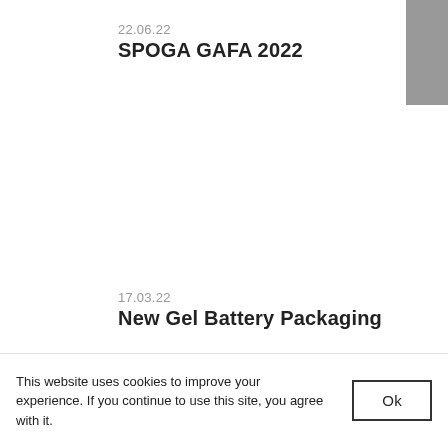22.06.22
SPOGA GAFA 2022
[Figure (other): Gray rectangular block in upper right corner]
17.03.22
New Gel Battery Packaging
This website uses cookies to improve your experience. If you continue to use this site, you agree with it.